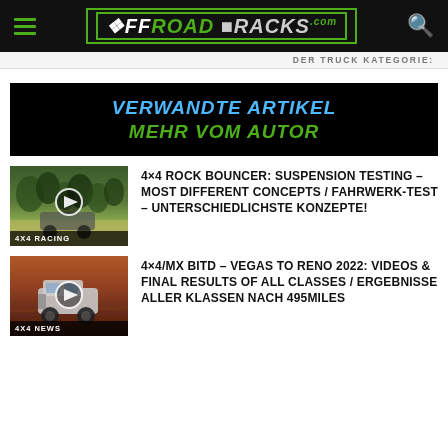OFFROAD TRACKS
DER TRUCK KATEGORIE:
VERWANDTE ARTIKEL MEHR VOM AUTOR
[Figure (photo): Thumbnail image of 4x4 rock bouncer vehicle with play button overlay, labeled 4X4 RACING]
4×4 ROCK BOUNCER: SUSPENSION TESTING – MOST DIFFERENT CONCEPTS / FAHRWERK-TEST – UNTERSCHIEDLICHSTE KONZEPTE!
[Figure (photo): Thumbnail image of a jeep-style 4x4 vehicle in desert/rocky terrain with play button overlay, labeled 4X4 NEWS]
4×4/MX BITD – VEGAS TO RENO 2022: VIDEOS & FINAL RESULTS OF ALL CLASSES / ERGEBNISSE ALLER KLASSEN NACH 495MILES